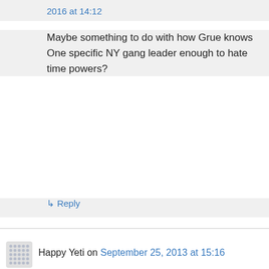2016 at 14:12
Maybe something to do with how Grue knows One specific NY gang leader enough to hate time powers?
↳ Reply
Happy Yeti on September 25, 2013 at 15:16
How did Tattletale send Taylor that message? How can she send a message to an anonymous guest? Or did she send the message to Taylor's